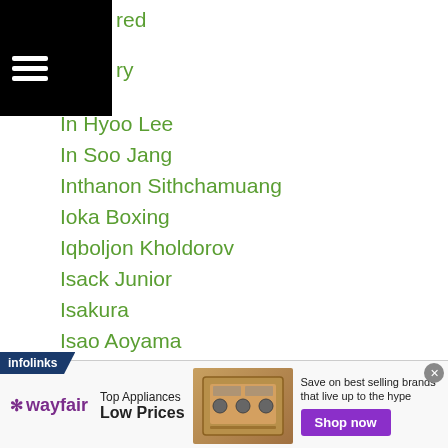red
ry
In Hyoo Lee
In Soo Jang
Inthanon Sithchamuang
Ioka Boxing
Iqboljon Kholdorov
Isack Junior
Isakura
Isao Aoyama
Iskander Kharsan
Ismael-salas
Israil Madrimov
Issa Akberbayev
Issay Ochai
ramoto
[Figure (other): Wayfair advertisement banner: Top Appliances Low Prices with Shop now button]